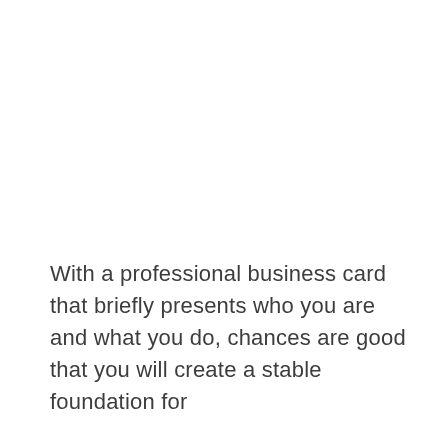With a professional business card that briefly presents who you are and what you do, chances are good that you will create a stable foundation for